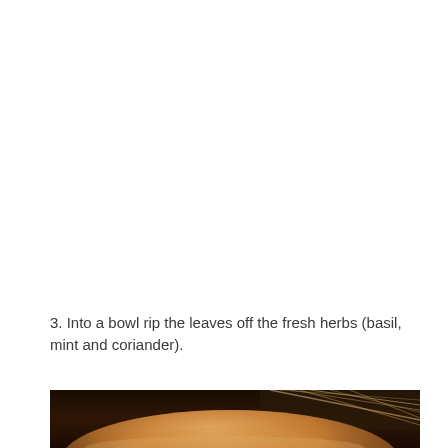3. Into a bowl rip the leaves off the fresh herbs (basil, mint and coriander).
[Figure (photo): A close-up photo showing the inside of a white ceramic bowl, warmly lit with an orange/golden tone. A person's hair is partially visible in the background.]